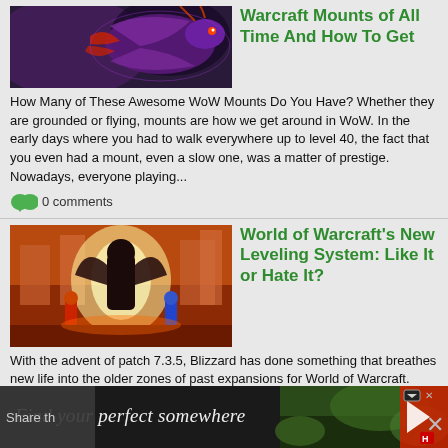[Figure (photo): World of Warcraft mount — a dark purple dragon-like creature against a colorful background]
Warcraft Mounts of All Time And How To Get
How Many of These Awesome WoW Mounts Do You Have? Whether they are grounded or flying, mounts are how we get around in WoW. In the early days where you had to walk everywhere up to level 40, the fact that you even had a mount, even a slow one, was a matter of prestige. Nowadays, everyone playing...
0 comments
[Figure (photo): World of Warcraft characters in a colorful battle scene — a dark armored figure surrounded by glowing light]
World of Warcraft's New Leveling System: Like It or Hate It?
With the advent of patch 7.3.5, Blizzard has done something that breathes new life into the older zones of past expansions for World of Warcraft. They have introduced level scaling to the entire game, rather than having it exclusively on the Broken Isles, which were brought in with the most recent...
0 comments
[Figure (photo): Advertisement banner: Find your perfect somewhere — travel/hotel ad with game-like imagery]